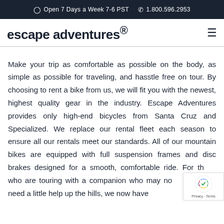Open 7 Days a Week 7-6 PST   1.800.596.2953
escape adventures®
Make your trip as comfortable as possible on the body, as simple as possible for traveling, and hasstle free on tour. By choosing to rent a bike from us, we will fit you with the newest, highest quality gear in the industry. Escape Adventures provides only high-end bicycles from Santa Cruz and Specialized. We replace our rental fleet each season to ensure all our rentals meet our standards. All of our mountain bikes are equipped with full suspension frames and disc brakes designed for a smooth, comfortable ride. For those who are touring with a companion who may not be as fit or need a little help up the hills, we now have